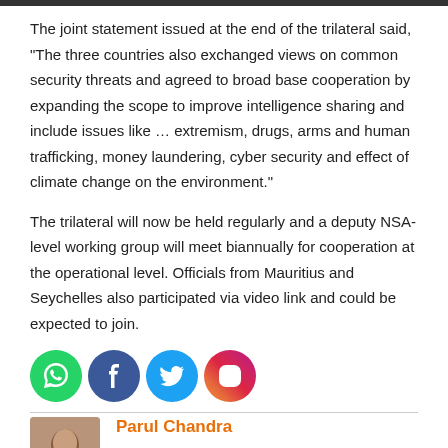The joint statement issued at the end of the trilateral said, "The three countries also exchanged views on common security threats and agreed to broad base cooperation by expanding the scope to improve intelligence sharing and include issues like … extremism, drugs, arms and human trafficking, money laundering, cyber security and effect of climate change on the environment."
The trilateral will now be held regularly and a deputy NSA-level working group will meet biannually for cooperation at the operational level. Officials from Mauritius and Seychelles also participated via video link and could be expected to join.
[Figure (infographic): Social media share icons: WhatsApp (green circle), Facebook (dark blue circle), Twitter (light blue circle), Instagram (gradient circle)]
Parul Chandra
Professional newshound, have navigated through